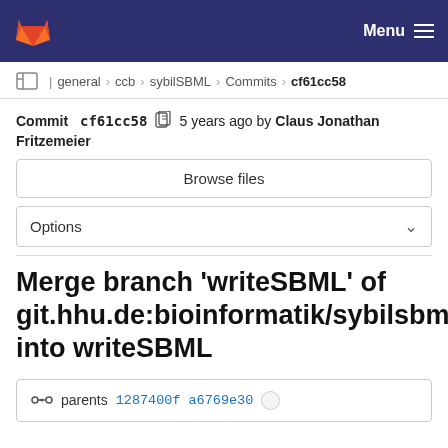Menu
general > ccb > sybilSBML > Commits > cf61cc58
Commit cf61cc58  5 years ago by Claus Jonathan Fritzemeier
Browse files
Options
Merge branch 'writeSBML' of git.hhu.de:bioinformatik/sybilsbml into writeSBML
parents 1287400f a6769e30